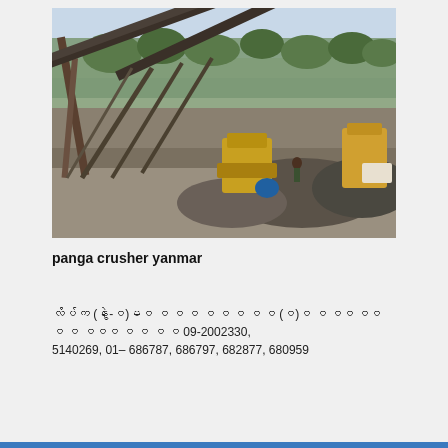[Figure (photo): Outdoor industrial stone crusher / quarry site with large conveyor belts, heavy machinery including a yellow excavator, piles of crushed stone/gravel, and trees in the background under a hazy sky.]
panga crusher yanmar
လိပ်က (နွဲ-ဝေ)မဝ ဝ ဝ ဝ ဝ ဝ ဝ ဝ ဝ (ဝ)ဝ ဝ ဝဝ ဝဝ ဝ ဝ ဝဝဝ ဝ ဝ ဝ ဝ 09-2002330, 5140269, 01– 686787, 686797, 682877, 680959